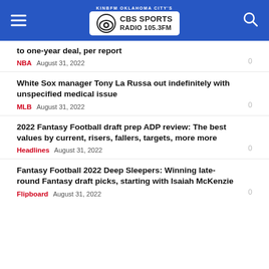KINBFM Oklahoma City's CBS Sports Radio 105.3FM
to one-year deal, per report
NBA   August 31, 2022   0
White Sox manager Tony La Russa out indefinitely with unspecified medical issue
MLB   August 31, 2022   0
2022 Fantasy Football draft prep ADP review: The best values by current, risers, fallers, targets, more more
Headlines   August 31, 2022   0
Fantasy Football 2022 Deep Sleepers: Winning late-round Fantasy draft picks, starting with Isaiah McKenzie
Flipboard   August 31, 2022   0